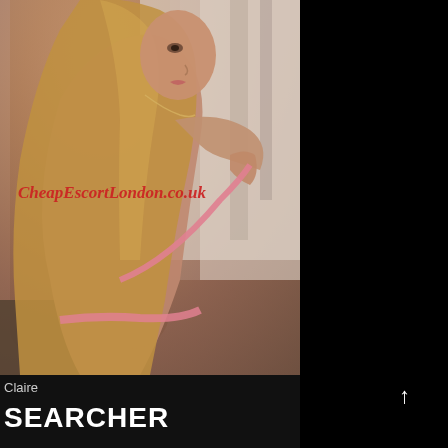[Figure (photo): A young blonde woman photographed from behind and partially turned to face the camera, wearing a pink lace bra. She has long straight blonde hair and is posed against a light curtain background. A red italic watermark 'CheapEscortLondon.co.uk' overlays the image.]
Claire
↑
SEARCHER